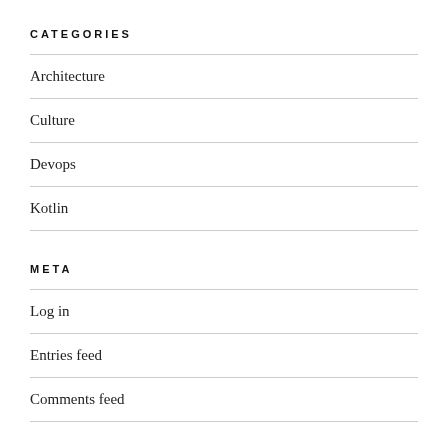CATEGORIES
Architecture
Culture
Devops
Kotlin
META
Log in
Entries feed
Comments feed